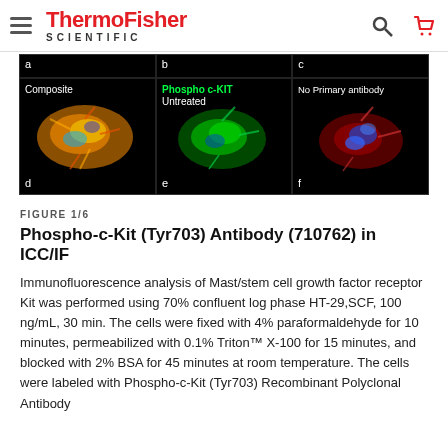ThermoFisher SCIENTIFIC
[Figure (photo): Fluorescence microscopy images arranged in 2 rows of 3 panels (a-f). Panel a: black top strip labeled 'a'. Panel b: black top strip labeled 'b'. Panel c: black top strip labeled 'c'. Panel d (bottom left): composite fluorescence image with yellow/orange/red colored cells on black background, labeled 'Composite' and 'd'. Panel e (bottom middle): green fluorescence image labeled 'Phospho c-KIT Untreated' and 'e'. Panel f (bottom right): blue/red fluorescence image labeled 'No Primary antibody' and 'f'.]
FIGURE 1/6
Phospho-c-Kit (Tyr703) Antibody (710762) in ICC/IF
Immunofluorescence analysis of Mast/stem cell growth factor receptor Kit was performed using 70% confluent log phase HT-29,SCF, 100 ng/mL, 30 min. The cells were fixed with 4% paraformaldehyde for 10 minutes, permeabilized with 0.1% Triton™ X-100 for 15 minutes, and blocked with 2% BSA for 45 minutes at room temperature. The cells were labeled with Phospho-c-Kit (Tyr703) Recombinant Polyclonal Antibody